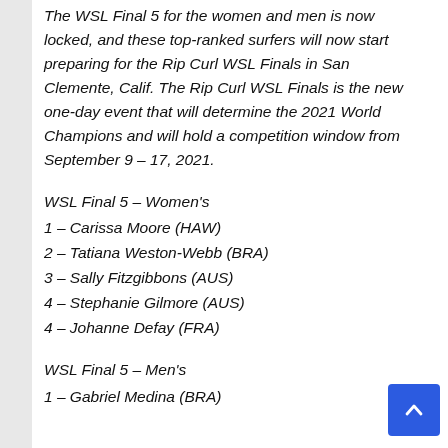The WSL Final 5 for the women and men is now locked, and these top-ranked surfers will now start preparing for the Rip Curl WSL Finals in San Clemente, Calif. The Rip Curl WSL Finals is the new one-day event that will determine the 2021 World Champions and will hold a competition window from September 9 – 17, 2021.
WSL Final 5 – Women's
1 – Carissa Moore (HAW)
2 – Tatiana Weston-Webb (BRA)
3 – Sally Fitzgibbons (AUS)
4 – Stephanie Gilmore (AUS)
4 – Johanne Defay (FRA)
WSL Final 5 – Men's
1 – Gabriel Medina (BRA)